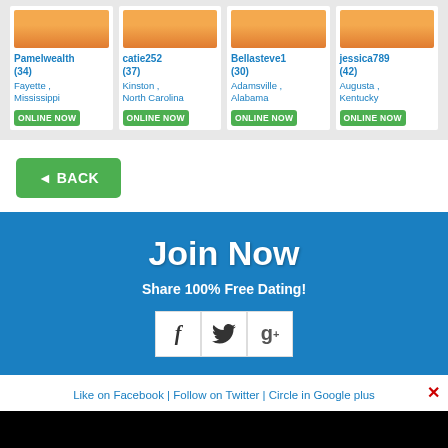[Figure (infographic): Four dating profile cards with orange placeholder images, usernames, ages, locations, and green ONLINE NOW buttons. Profiles: Pamelwealth (34) Fayette, Mississippi; catie252 (37) Kinston, North Carolina; Bellasteve1 (30) Adamsville, Alabama; jessica789 (42) Augusta, Kentucky]
◄ BACK
Join Now
Share 100% Free Dating!
[Figure (infographic): Three social media icon buttons: Facebook (f), Twitter (bird), Google Plus (g+)]
Like on Facebook | Follow on Twitter | Circle in Google plus